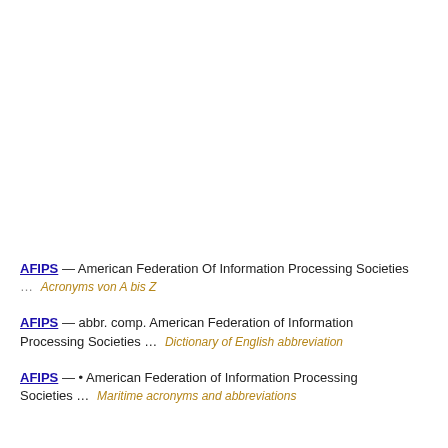AFIPS — American Federation Of Information Processing Societies … Acronyms von A bis Z
AFIPS — abbr. comp. American Federation of Information Processing Societies … Dictionary of English abbreviation
AFIPS — • American Federation of Information Processing Societies … Maritime acronyms and abbreviations